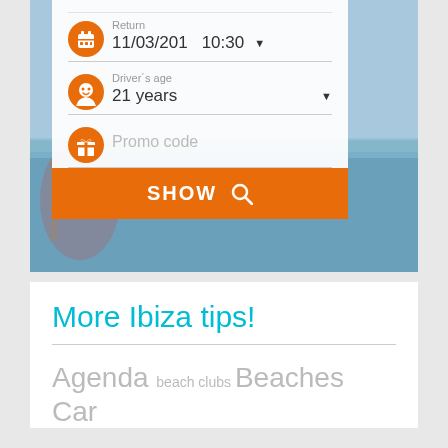[Figure (screenshot): Car rental booking form screenshot showing Return date (11/03/201), time (10:30), Driver's age (21 years), Promo code field, and an orange SHOW button with search icon]
More Ibiza tips!
Agenda beach clubs Beaches Car